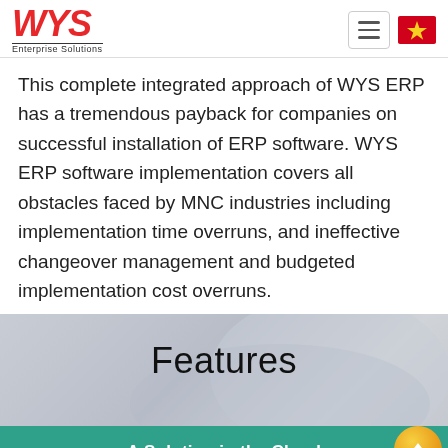WYS Enterprise Solutions
This complete integrated approach of WYS ERP has a tremendous payback for companies on successful installation of ERP software. WYS ERP software implementation covers all obstacles faced by MNC industries including implementation time overruns, and ineffective changeover management and budgeted implementation cost overruns.
Features
A Solution in the Cloud
The rise of cloud computing brought a new